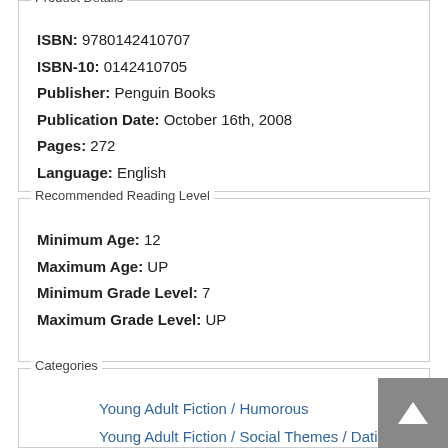Product Details
ISBN: 9780142410707
ISBN-10: 0142410705
Publisher: Penguin Books
Publication Date: October 16th, 2008
Pages: 272
Language: English
Recommended Reading Level
Minimum Age: 12
Maximum Age: UP
Minimum Grade Level: 7
Maximum Grade Level: UP
Categories
Young Adult Fiction / Humorous
Young Adult Fiction / Social Themes / Dating & Sex